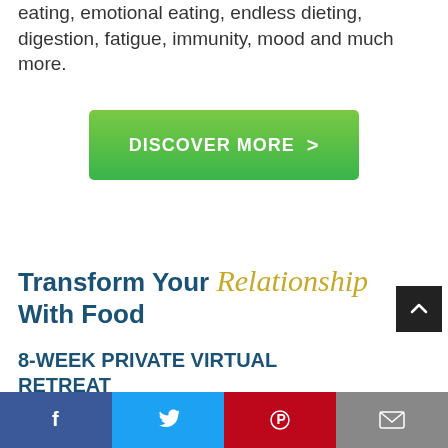eating, emotional eating, endless dieting, digestion, fatigue, immunity, mood and much more.
[Figure (other): Green gradient button with text 'DISCOVER MORE >']
Transform Your Relationship With Food
8-WEEK PRIVATE VIRTUAL RETREAT
This is our breakthrough online program
Social share bar: Facebook, Twitter, Pinterest, Email